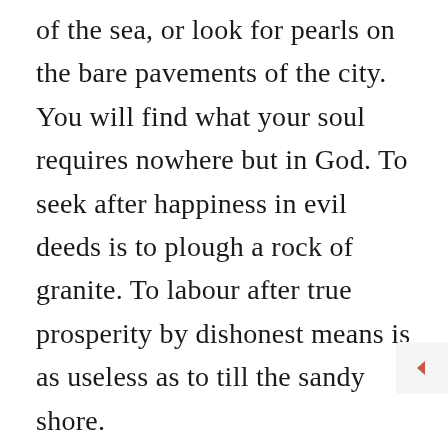of the sea, or look for pearls on the bare pavements of the city. You will find what your soul requires nowhere but in God. To seek after happiness in evil deeds is to plough a rock of granite. To labour after true prosperity by dishonest means is as useless as to till the sandy shore. “Wherefore do you spend your money for that which is not bread, and your labour for that which satisfieth not?” Young man, you are killing yourself with ambition, and if your object were worthy we might not be so grieved, but your ambition is selfish,